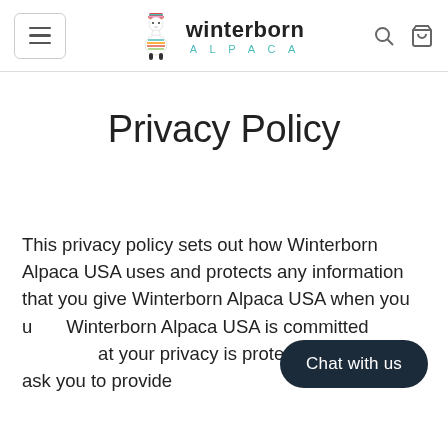winterborn ALPACA
Privacy Policy
This privacy policy sets out how Winterborn Alpaca USA uses and protects any information that you give Winterborn Alpaca USA when you u... Winterborn Alpaca USA is committed... at your privacy is protected. Should we ask you to provide ...